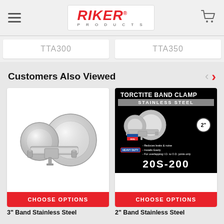Riker Products
TTA300   TTA350
Customers Also Viewed
[Figure (photo): 3 inch band stainless steel clamp product photo]
[Figure (photo): Torctite Band Clamp Stainless Steel 2 inch product label image for 20S-200]
CHOOSE OPTIONS
CHOOSE OPTIONS
3" Band Stainless Steel
2" Band Stainless Steel